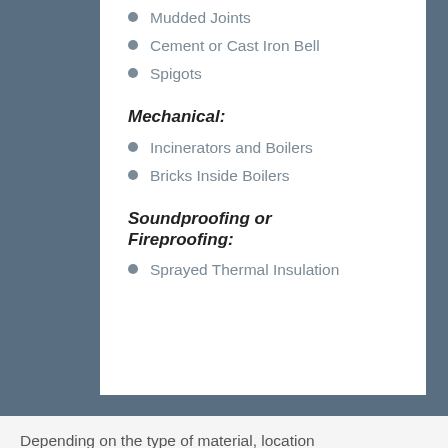Mudded Joints
Cement or Cast Iron Bell
Spigots
Mechanical:
Incinerators and Boilers
Bricks Inside Boilers
Soundproofing or Fireproofing:
Sprayed Thermal Insulation
Depending on the type of material, location